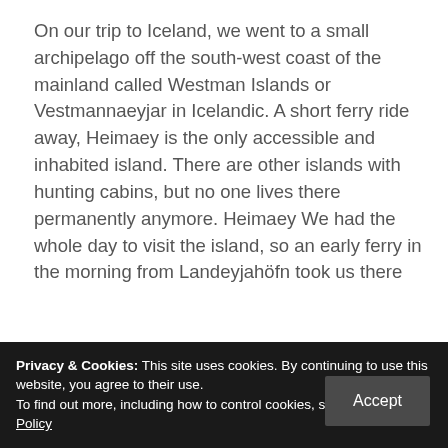On our trip to Iceland, we went to a small archipelago off the south-west coast of the mainland called Westman Islands or Vestmannaeyjar in Icelandic. A short ferry ride away, Heimaey is the only accessible and inhabited island. There are other islands with hunting cabins, but no one lives there permanently anymore. Heimaey We had the whole day to visit the island, so an early ferry in the morning from Landeyjahöfn took us there
Privacy & Cookies: This site uses cookies. By continuing to use this website, you agree to their use.
To find out more, including how to control cookies, see here: Cookie Policy